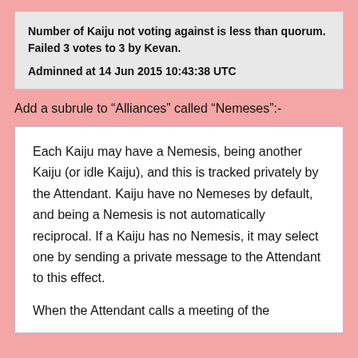Number of Kaiju not voting against is less than quorum. Failed 3 votes to 3 by Kevan.

Adminned at 14 Jun 2015 10:43:38 UTC
Add a subrule to “Alliances” called “Nemeses”:-
Each Kaiju may have a Nemesis, being another Kaiju (or idle Kaiju), and this is tracked privately by the Attendant. Kaiju have no Nemeses by default, and being a Nemesis is not automatically reciprocal. If a Kaiju has no Nemesis, it may select one by sending a private message to the Attendant to this effect.
When the Attendant calls a meeting of the